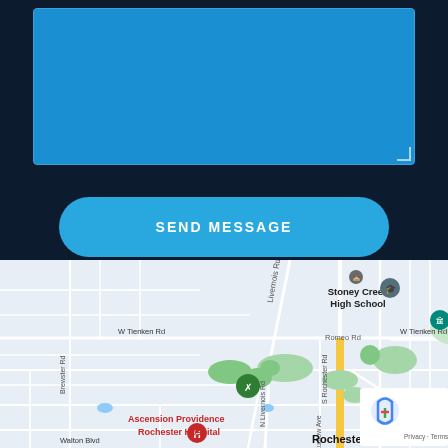[Figure (screenshot): Blue textarea input field on dark navy background]
SEND MESSAGE
[Figure (map): Google Maps view showing Rochester area with streets including W Tienken Rd, Livernois Rd, S Rochester Rd, Romeo Rd, Walton Blvd, and landmarks including Stoney Creek High School and Ascension Providence Rochester Hospital]